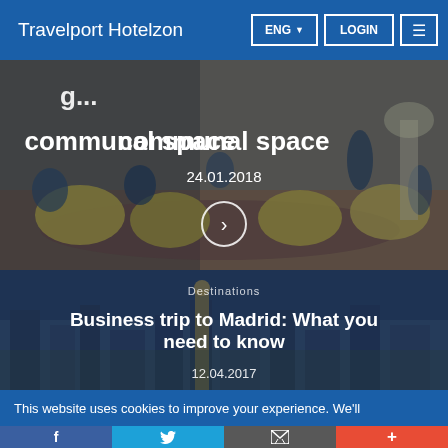Travelport Hotelzon | ENG | LOGIN | ☰
[Figure (photo): Hotel lobby with guests sitting in yellow chairs, partially visible headline about communal space, date 24.01.2018 and a circular arrow button]
communal space
24.01.2018
[Figure (photo): Aerial view of Madrid city at dusk with labeled section Destinations, headline Business trip to Madrid: What you need to know, partial date 12.04.2017]
Destinations
Business trip to Madrid: What you need to know
12.04.2017
This website uses cookies to improve your experience. We'll